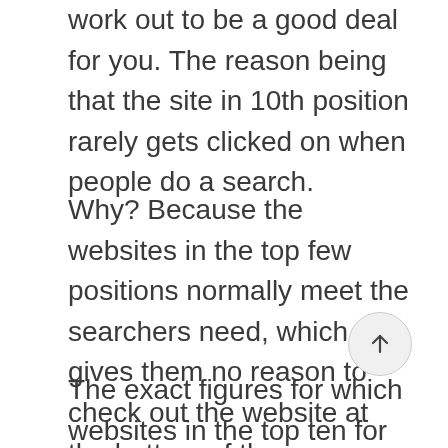work out to be a good deal for you. The reason being that the site in 10th position rarely gets clicked on when people do a search.
Why? Because the websites in the top few positions normally meet the searchers need, which gives them no reason to check out the website at the bottom of the page.
The exact figures for which websites in the top ten for any given search get what amount of clicks vary slightly from study to study, however, for the purposes of this